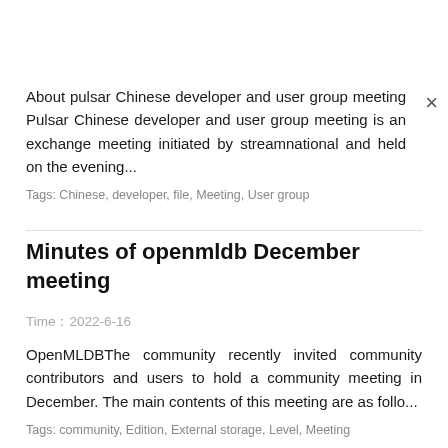About pulsar Chinese developer and user group meeting Pulsar Chinese developer and user group meeting is an exchange meeting initiated by streamnational and held on the evening...
Tags: Chinese, developer, file, Meeting, User group
Minutes of openmldb December meeting
Time：2022-6-16
OpenMLDBThe community recently invited community contributors and users to hold a community meeting in December. The main contents of this meeting are as follo...
Tags: community, Edition, External storage, Level, Meeting